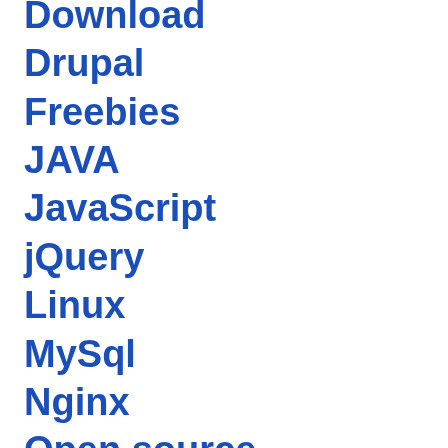Download
Drupal
Freebies
JAVA
JavaScript
jQuery
Linux
MySql
Nginx
Open source
Photoshop
PHP